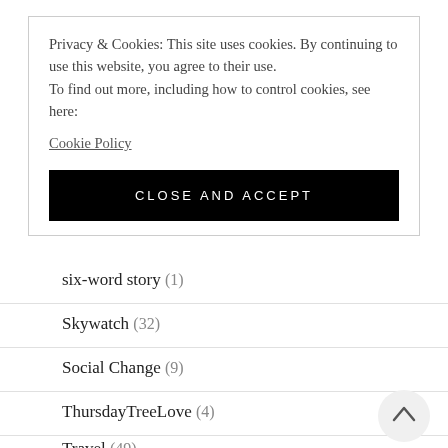Privacy & Cookies: This site uses cookies. By continuing to use this website, you agree to their use.
To find out more, including how to control cookies, see here:
Cookie Policy
CLOSE AND ACCEPT
six-word story (1)
Skywatch (32)
Social Change (9)
ThursdayTreeLove (4)
Travel (49)